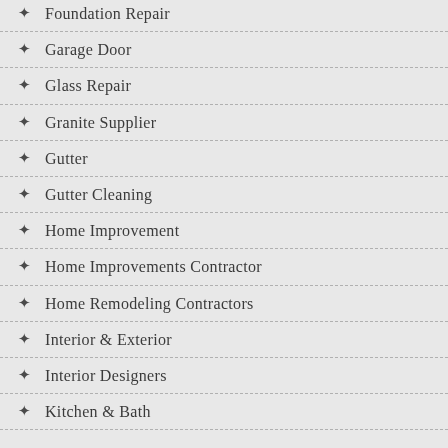Foundation Repair
Garage Door
Glass Repair
Granite Supplier
Gutter
Gutter Cleaning
Home Improvement
Home Improvements Contractor
Home Remodeling Contractors
Interior & Exterior
Interior Designers
Kitchen & Bath